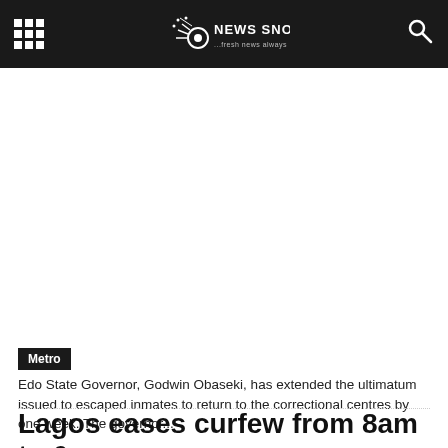NEWS SNOW ...fresh news always
Metro
Edo State Governor, Godwin Obaseki, has extended the ultimatum issued to escaped inmates to return to the correctional centres by one week. The governor...
Lagos eases curfew from 8am to 6pm